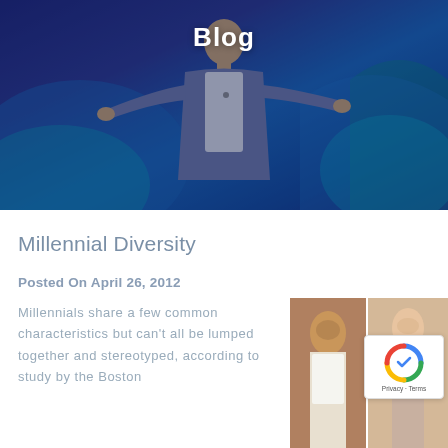[Figure (photo): A man in a grey blazer presenting on stage with arms outstretched, purple/blue decorative background]
Blog
Millennial Diversity
Posted On April 26, 2012
Millennials share a few common characteristics but can't all be lumped together and stereotyped, according to study by the Boston
[Figure (photo): Two side-by-side photos of young people]